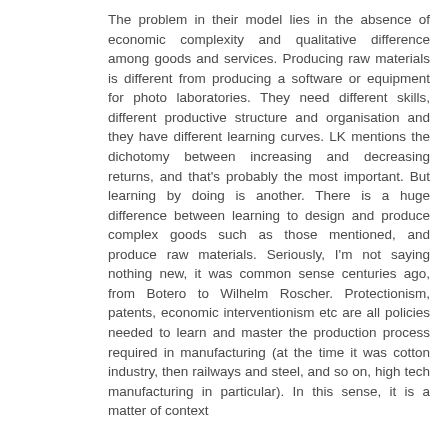The problem in their model lies in the absence of economic complexity and qualitative difference among goods and services. Producing raw materials is different from producing a software or equipment for photo laboratories. They need different skills, different productive structure and organisation and they have different learning curves. LK mentions the dichotomy between increasing and decreasing returns, and that's probably the most important. But learning by doing is another. There is a huge difference between learning to design and produce complex goods such as those mentioned, and produce raw materials. Seriously, I'm not saying nothing new, it was common sense centuries ago, from Botero to Wilhelm Roscher. Protectionism, patents, economic interventionism etc are all policies needed to learn and master the production process required in manufacturing (at the time it was cotton industry, then railways and steel, and so on, high tech manufacturing in particular). In this sense, it is a matter of context